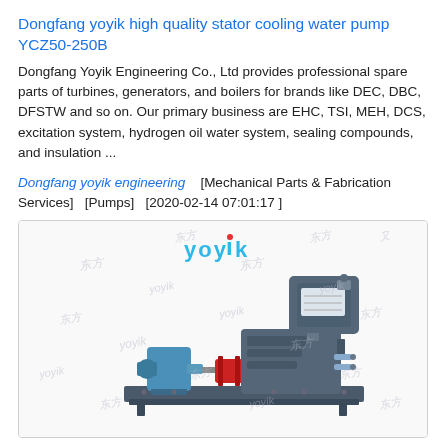Dongfang yoyik high quality stator cooling water pump YCZ50-250B
Dongfang Yoyik Engineering Co., Ltd provides professional spare parts of turbines, generators, and boilers for brands like DEC, DBC, DFSTW and so on. Our primary business are EHC, TSI, MEH, DCS, excitation system, hydrogen oil water system, sealing compounds, and insulation ...
Dongfang yoyik engineering   [Mechanical Parts & Fabrication Services]   [Pumps]   [2020-02-14 07:01:17 ]
[Figure (photo): Photo of a stator cooling water pump YCZ50-250B mounted on a base plate, with YOYIK logo watermark. The pump assembly includes a blue-colored motor on the left, a red coupling in the center, and a grey pump/motor unit on the right mounted on a grey base frame. Multiple watermarks reading 'yoyik' and Chinese characters are overlaid on the image.]